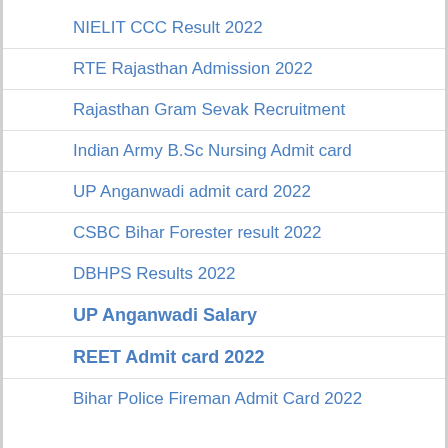NIELIT CCC Result 2022
RTE Rajasthan Admission 2022
Rajasthan Gram Sevak Recruitment
Indian Army B.Sc Nursing Admit card
UP Anganwadi admit card 2022
CSBC Bihar Forester result 2022
DBHPS Results 2022
UP Anganwadi Salary
REET Admit card 2022
Bihar Police Fireman Admit Card 2022